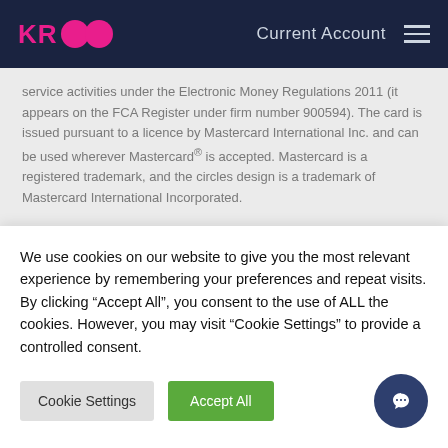KR [logo] Current Account
service activities under the Electronic Money Regulations 2011 (it appears on the FCA Register under firm number 900594). The card is issued pursuant to a licence by Mastercard International Inc. and can be used wherever Mastercard® is accepted. Mastercard is a registered trademark, and the circles design is a trademark of Mastercard International Incorporated.
PayrNet (and Modulr FS Limited who process some payments for us) hold your money and follow a set of regulatory safeguarding rules to keep your money safe. These rules require them to place
We use cookies on our website to give you the most relevant experience by remembering your preferences and repeat visits. By clicking "Accept All", you consent to the use of ALL the cookies. However, you may visit "Cookie Settings" to provide a controlled consent.
Cookie Settings
Accept All